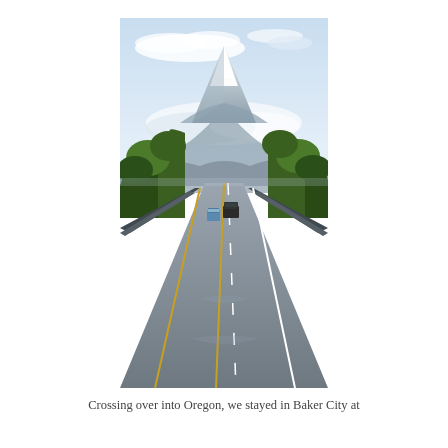[Figure (photo): A highway stretching toward a snow-capped mountain volcano in the distance. Two cars drive ahead on the multi-lane road. Green trees line both sides of the highway. The sky is partly cloudy with a bright mountain peak centered in the background.]
Crossing over into Oregon, we stayed in Baker City at